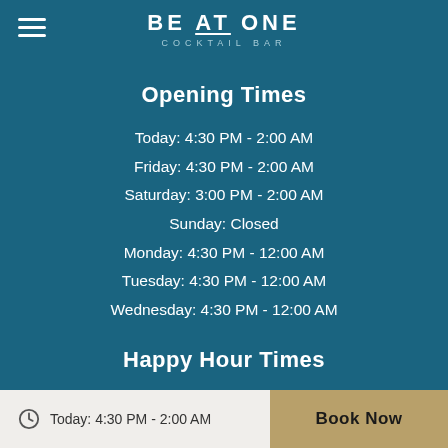BE AT ONE COCKTAIL BAR
Opening Times
Today: 4:30 PM - 2:00 AM
Friday: 4:30 PM - 2:00 AM
Saturday: 3:00 PM - 2:00 AM
Sunday: Closed
Monday: 4:30 PM - 12:00 AM
Tuesday: 4:30 PM - 12:00 AM
Wednesday: 4:30 PM - 12:00 AM
Happy Hour Times
Today: 4:30 PM - 7:00 PM
Friday: 4:30 PM - 7:00 PM
Today: 4:30 PM - 2:00 AM  Book Now